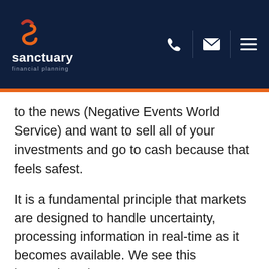[Figure (logo): Sanctuary Financial Planning logo — stylized S icon in red/orange, white wordmark 'sanctuary' with 'financial planning' subtitle, on dark navy background]
sanctuary financial planning — header navigation with phone, email, and menu icons
to the news (Negative Events World Service) and want to sell all of your investments and go to cash because that feels safest.
It is a fundamental principle that markets are designed to handle uncertainty, processing information in real-time as it becomes available. We see this happening when